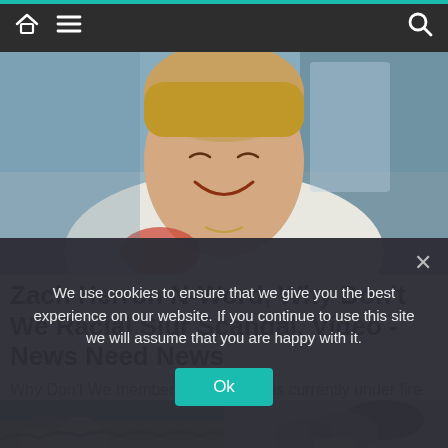Navigation bar with home, menu, and search icons
[Figure (photo): Close-up photo of a young man with short hair, wearing a white shirt, smiling, with a blurred background]
Zach Herron N-Word, Why Don't We Racial Slur Scandal, Video - News Need News
Why Don't We member Zach Herron is currently under fire after he was caught on video saying the N-word. The
[Figure (photo): Two thumbnail images side by side: left shows two women outdoors, right shows a person outdoors]
We use cookies to ensure that we give you the best experience on our website. If you continue to use this site we will assume that you are happy with it.